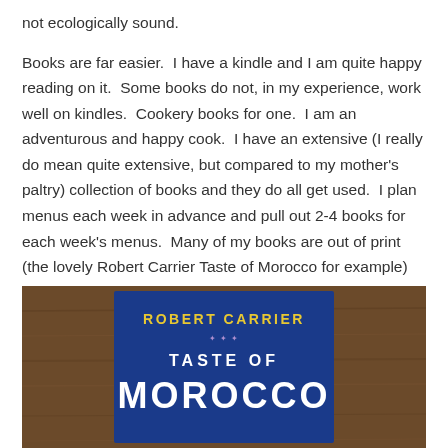not ecologically sound.
Books are far easier.  I have a kindle and I am quite happy reading on it.  Some books do not, in my experience, work well on kindles.  Cookery books for one.  I am an adventurous and happy cook.  I have an extensive (I really do mean quite extensive, but compared to my mother's paltry) collection of books and they do all get used.  I plan menus each week in advance and pull out 2-4 books for each week's menus.  Many of my books are out of print (the lovely Robert Carrier Taste of Morocco for example)
[Figure (photo): Photo of the book 'Taste of Morocco' by Robert Carrier lying on a wooden table surface. The book has a blue cover with 'ROBERT CARRIER' in yellow text and 'TASTE OF MOROCCO' in white text.]